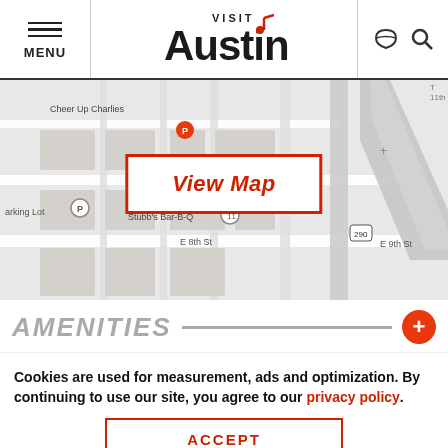MENU | Visit Austin | (weather icon) (search icon)
[Figure (map): Google Maps screenshot showing downtown Austin area near E 9th St, E 8th St, Cheer Up Charlies, Stubb's Bar-B-Q, Parking Lot, highway 290, Capitol area]
View Map
AMENITIES
Cookies are used for measurement, ads and optimization. By continuing to use our site, you agree to our privacy policy.
ACCEPT